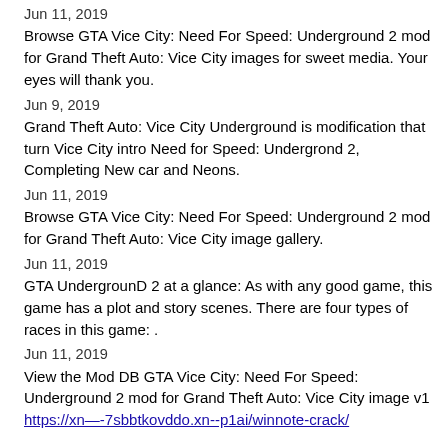Jun 11, 2019
Browse GTA Vice City: Need For Speed: Underground 2 mod for Grand Theft Auto: Vice City images for sweet media. Your eyes will thank you.
Jun 9, 2019
Grand Theft Auto: Vice City Underground is modification that turn Vice City intro Need for Speed: Undergrond 2, Completing New car and Neons.
Jun 11, 2019
Browse GTA Vice City: Need For Speed: Underground 2 mod for Grand Theft Auto: Vice City image gallery.
Jun 11, 2019
GTA UndergrounD 2 at a glance: As with any good game, this game has a plot and story scenes. There are four types of races in this game: .
Jun 11, 2019
View the Mod DB GTA Vice City: Need For Speed: Underground 2 mod for Grand Theft Auto: Vice City image v1
https://xn—-7sbbtkovddo.xn--p1ai/winnote-crack/